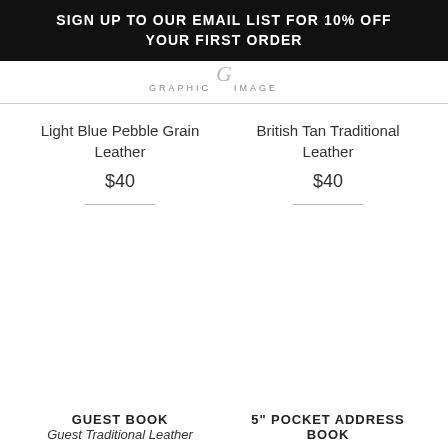SIGN UP TO OUR EMAIL LIST FOR 10% OFF YOUR FIRST ORDER
[Figure (logo): Graphic Image logo with cursive G and text GRAPHIC IMAGE]
Light Blue Pebble Grain Leather
$40
British Tan Traditional Leather
$40
GUEST BOOK
5" POCKET ADDRESS BOOK